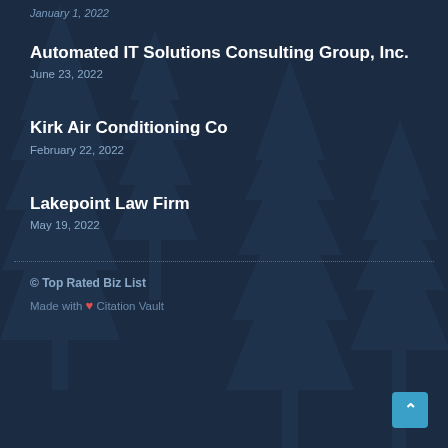January 1, 2022
Automated IT Solutions Consulting Group, Inc.
June 23, 2022
Kirk Air Conditioning Co
February 22, 2022
Lakepoint Law Firm
May 19, 2022
© Top Rated Biz List
Made with ❤ Citation Vault